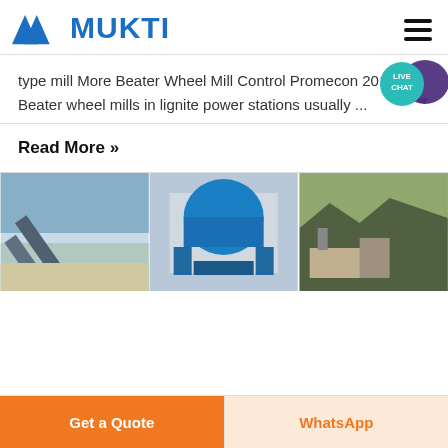[Figure (logo): Mukti company logo with blue triangular M icon and blue bold text MUKTI]
type mill More Beater Wheel Mill Control Promecon 201977 Beater wheel mills in lignite power stations usually ...
Read More »
[Figure (photo): Three industrial machinery photos side by side: conveyor belt system, large blue VSI crusher/mill machine, and quarry/crushing plant in rocky terrain]
Get a Quote
WhatsApp